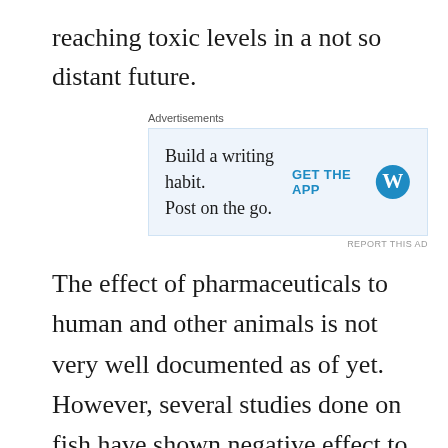reaching toxic levels in a not so distant future.
[Figure (other): WordPress advertisement banner: 'Build a writing habit. Post on the go.' with GET THE APP button and WordPress logo]
The effect of pharmaceuticals to human and other animals is not very well documented as of yet. However, several studies done on fish have shown negative effect to fish population exposed to elevated levels of pharmaceuticals in rivers, streams, and lakes (Daughton & Temes, 1999; Boxall et al. 2003a; 2004a; Floate et al. 2005). Furthermore, some studies have confirmed that in some species male fish have actually turned into female when their habitats were exposed to high levels of pharmaceuticals for long